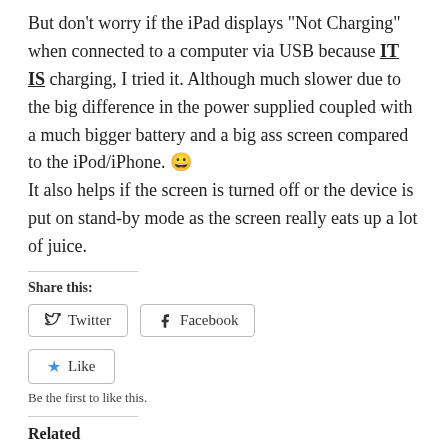But don't worry if the iPad displays "Not Charging" when connected to a computer via USB because IT IS charging, I tried it. Although much slower due to the big difference in the power supplied coupled with a much bigger battery and a big ass screen compared to the iPod/iPhone. 😀 It also helps if the screen is turned off or the device is put on stand-by mode as the screen really eats up a lot of juice.
Share this:
Twitter | Facebook (share buttons)
Like
Be the first to like this.
Related
A few items bought at Amazon
May 17, 2010
Seagate Backup Plus Unboxing Photos
November 1, 2016